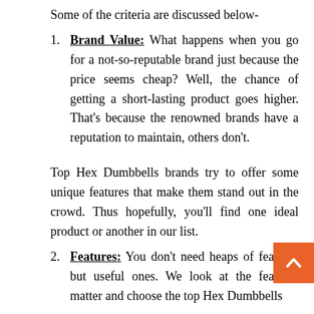Some of the criteria are discussed below-
Brand Value: What happens when you go for a not-so-reputable brand just because the price seems cheap? Well, the chance of getting a short-lasting product goes higher. That's because the renowned brands have a reputation to maintain, others don't.
Top Hex Dumbbells brands try to offer some unique features that make them stand out in the crowd. Thus hopefully, you'll find one ideal product or another in our list.
Features: You don't need heaps of features but useful ones. We look at the features matter and choose the top Hex Dumbbells